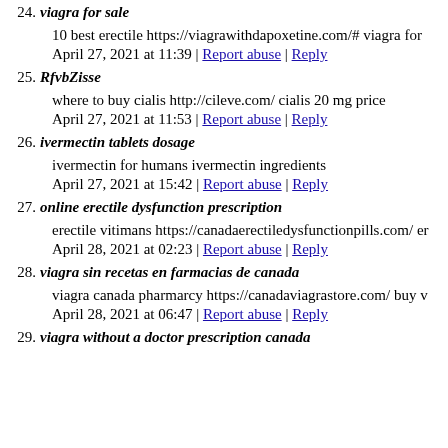24. viagra for sale
10 best erectile https://viagrawithdapoxetine.com/# viagra for
April 27, 2021 at 11:39 | Report abuse | Reply
25. RfvbZisse
where to buy cialis http://cileve.com/ cialis 20 mg price
April 27, 2021 at 11:53 | Report abuse | Reply
26. ivermectin tablets dosage
ivermectin for humans ivermectin ingredients
April 27, 2021 at 15:42 | Report abuse | Reply
27. online erectile dysfunction prescription
erectile vitimans https://canadaerectiledysfunctionpills.com/ er
April 28, 2021 at 02:23 | Report abuse | Reply
28. viagra sin recetas en farmacias de canada
viagra canada pharmarcy https://canadaviagrastore.com/ buy v
April 28, 2021 at 06:47 | Report abuse | Reply
29. viagra without a doctor prescription canada